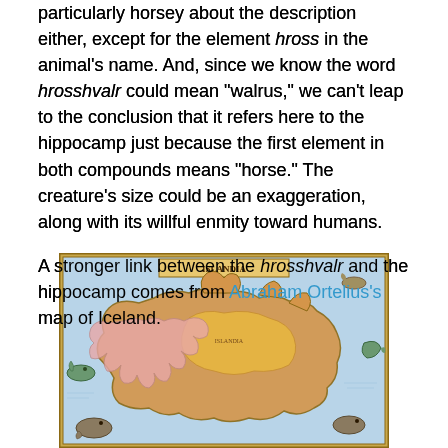particularly horsey about the description either, except for the element hross in the animal's name. And, since we know the word hrosshvalr could mean "walrus," we can't leap to the conclusion that it refers here to the hippocamp just because the first element in both compounds means "horse." The creature's size could be an exaggeration, along with its willful enmity toward humans.
A stronger link between the hrosshvalr and the hippocamp comes from Abraham Ortelius's map of Iceland.
[Figure (map): Abraham Ortelius's historical map of Iceland (Islandia), showing the island in yellow/gold with surrounding seas decorated with sea creatures and monsters. The map is ornately illustrated in an antique style with pink and gold coloring.]